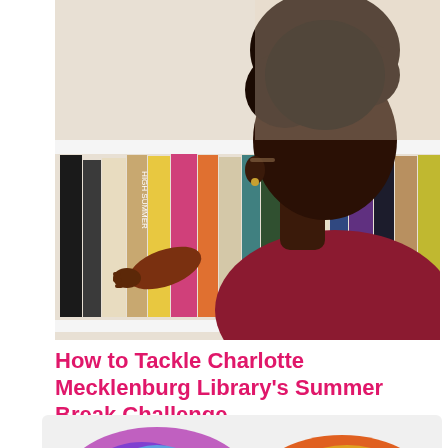[Figure (photo): A young Black woman with natural hair in a bun, wearing a dark red long-sleeve shirt, reaching toward colorful books on a white bookshelf. Photo is cropped to show her profile from the shoulders up along with the books.]
How to Tackle Charlotte Mecklenburg Library's Summer Break Challenge
Sponsored
[Figure (photo): Partial view of colorful tie-dye items (appears to be hats or fabric) at the bottom of the page — partially visible multicolored tie-dye objects on a light background.]